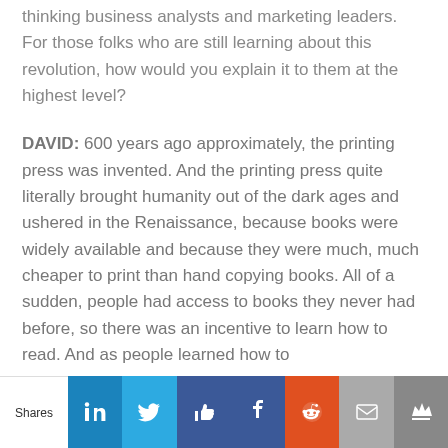thinking business analysts and marketing leaders. For those folks who are still learning about this revolution, how would you explain it to them at the highest level?
DAVID: 600 years ago approximately, the printing press was invented. And the printing press quite literally brought humanity out of the dark ages and ushered in the Renaissance, because books were widely available and because they were much, much cheaper to print than hand copying books. All of a sudden, people had access to books they never had before, so there was an incentive to learn how to read. And as people learned how to
[Figure (infographic): Social share bar with buttons: Shares label, LinkedIn, Twitter, Like (thumbs up), Facebook, Reddit, Email, Crown/bookmark]